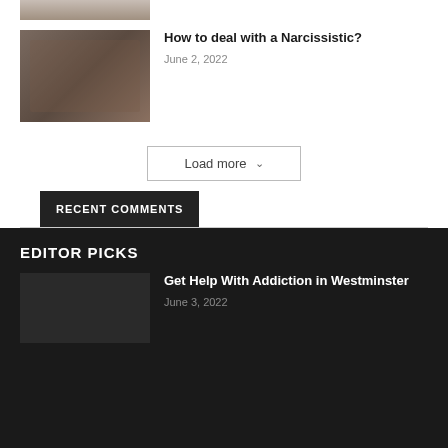[Figure (photo): Partial top image strip, cropped]
[Figure (photo): Photo of a man and woman in conversation, sitting indoors]
How to deal with a Narcissistic?
June 2, 2022
Load more ∨
RECENT COMMENTS
EDITOR PICKS
[Figure (photo): Dark thumbnail image placeholder]
Get Help With Addiction in Westminster
June 3, 2022